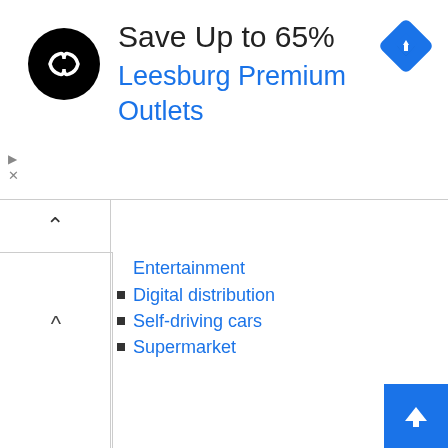[Figure (screenshot): Advertisement banner: black circular logo with infinity-like symbol, text 'Save Up to 65%' in dark and 'Leesburg Premium Outlets' in blue, with blue diamond navigation icon on right]
Entertainment
Digital distribution
Self-driving cars
Supermarket
|  |  |
| --- | --- |
| Founded | July 5, 1994
; 27 years ago
(
1994-07-05 |